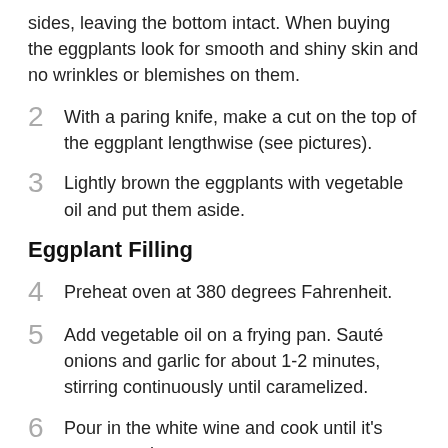sides, leaving the bottom intact. When buying the eggplants look for smooth and shiny skin and no wrinkles or blemishes on them.
2  With a paring knife, make a cut on the top of the eggplant lengthwise (see pictures).
3  Lightly brown the eggplants with vegetable oil and put them aside.
Eggplant Filling
4  Preheat oven at 380 degrees Fahrenheit.
5  Add vegetable oil on a frying pan. Sauté onions and garlic for about 1-2 minutes, stirring continuously until caramelized.
6  Pour in the white wine and cook until it's evaporated.